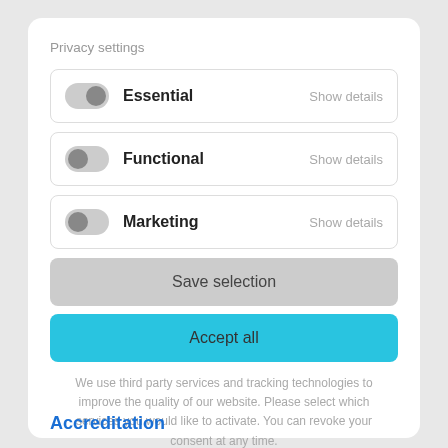Privacy settings
Essential — Show details
Functional — Show details
Marketing — Show details
Save selection
Accept all
We use third party services and tracking technologies to improve the quality of our website. Please select which services you would like to activate. You can revoke your consent at any time.
Accreditation